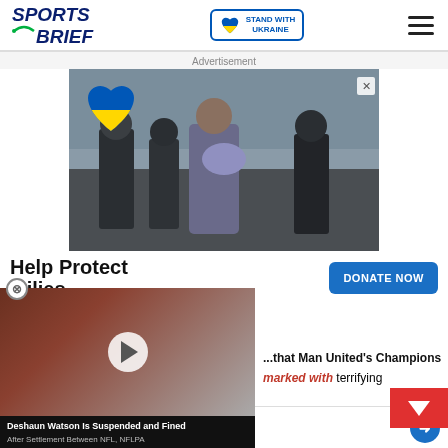[Figure (logo): Sports Brief logo - dark blue bold italic text with green accent icon]
[Figure (logo): Stand with Ukraine badge with blue-yellow heart]
Advertisement
[Figure (photo): Ukraine war scene - people carrying injured person through rubble, with blue-yellow heart overlay]
Help Protect ...ilies
DONATE NOW
[Figure (screenshot): Video overlay: Deshaun Watson Is Suspended and Fined After Settlement Between NFL, NFLPA - football player photo with play button]
...that Man United's Champions ...marked with terrifying
[Figure (infographic): Bottom advertisement bar: restaurant icon, Dine-in, Curbside pickup options with arrow button]